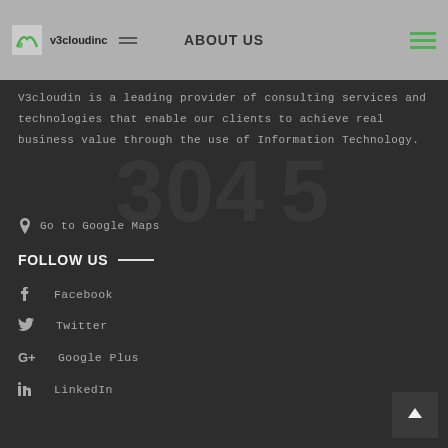ABOUT US
V3cloudin is a leading provider of consulting services and technologies that enable our clients to achieve real business value through the use of Information Technology.
Go to Google Maps
FOLLOW US
Facebook
Twitter
Google Plus
LinkedIn